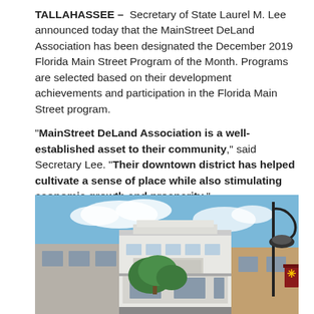TALLAHASSEE – Secretary of State Laurel M. Lee announced today that the MainStreet DeLand Association has been designated the December 2019 Florida Main Street Program of the Month. Programs are selected based on their development achievements and participation in the Florida Main Street program.
“MainStreet DeLand Association is a well-established asset to their community,” said Secretary Lee. “Their downtown district has helped cultivate a sense of place while also stimulating economic growth and prosperity.”
[Figure (photo): Street-level photograph of a downtown district scene in DeLand, Florida. A classic white commercial building with art deco styling is in the center, with green trees in front. A black ornamental street lamp extends from the right side. A red and white banner is visible on a pole at the far right. Blue sky with scattered clouds in the background.]